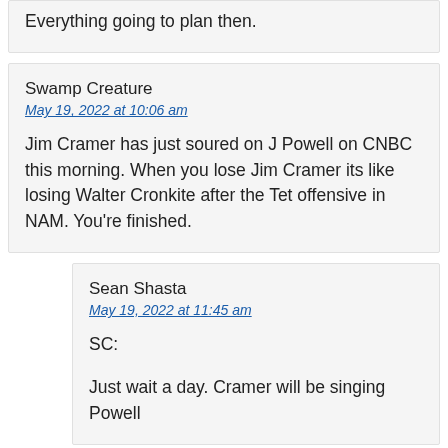Everything going to plan then.
Swamp Creature
May 19, 2022 at 10:06 am
Jim Cramer has just soured on J Powell on CNBC this morning. When you lose Jim Cramer its like losing Walter Cronkite after the Tet offensive in NAM. You're finished.
Sean Shasta
May 19, 2022 at 11:45 am
SC:
Just wait a day. Cramer will be singing Powell